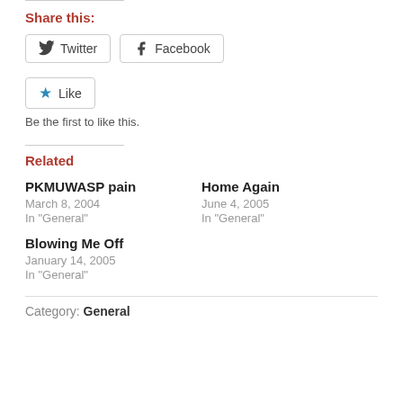Share this:
Twitter | Facebook (share buttons)
Like
Be the first to like this.
Related
PKMUWASP pain
March 8, 2004
In "General"
Home Again
June 4, 2005
In "General"
Blowing Me Off
January 14, 2005
In "General"
Category: General